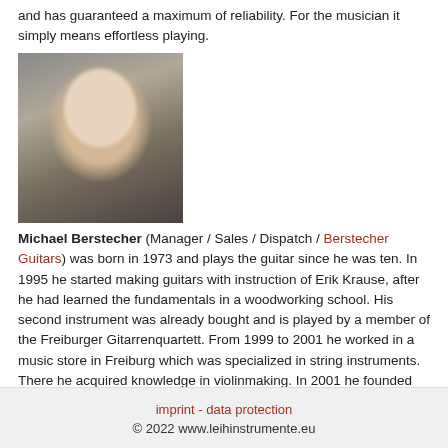and has guaranteed a maximum of reliability. For the musician it simply means effortless playing.
[Figure (photo): Portrait photo of Michael Berstecher, a young man smiling, wearing a herringbone jacket, photographed from chest up against a light background.]
Michael Berstecher (Manager / Sales / Dispatch / Berstecher Guitars) was born in 1973 and plays the guitar since he was ten. In 1995 he started making guitars with instruction of Erik Krause, after he had learned the fundamentals in a woodworking school. His second instrument was already bought and is played by a member of the Freiburger Gitarrenquartett. From 1999 to 2001 he worked in a music store in Freiburg which was specialized in string instruments. There he acquired knowledge in violinmaking. In 2001 he founded his own business with leihinstrumente.eu
imprint - data protection
© 2022 www.leihinstrumente.eu